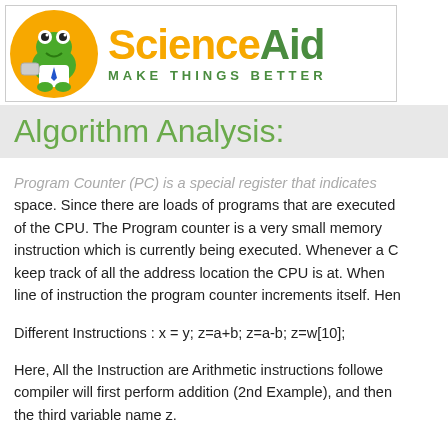[Figure (logo): ScienceAid logo with frog mascot in orange circle, text 'ScienceAid' in orange and green, tagline 'MAKE THINGS BETTER' in green]
Algorithm Analysis:
Program Counter (PC) is a special register that indicates space. Since there are loads of programs that are executed of the CPU. The Program counter is a very small memory instruction which is currently being executed. Whenever a C keep track of all the address location the CPU is at. When line of instruction the program counter increments itself. Hen
Different Instructions : x = y; z=a+b; z=a-b; z=w[10];
Here, All the Instruction are Arithmetic instructions followe compiler will first perform addition (2nd Example), and then the third variable name z.